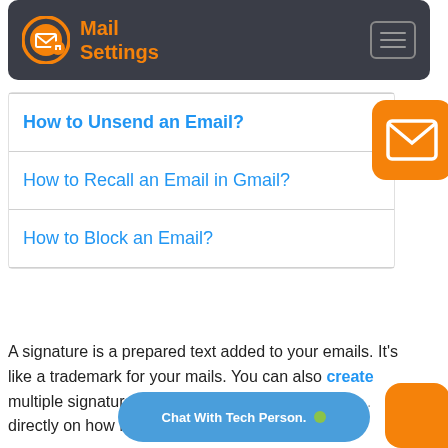Mail Settings
How to Unsend an Email?
How to Recall an Email in Gmail?
How to Block an Email?
[Figure (logo): Mail Settings logo: orange circle with envelope icon]
[Figure (illustration): Orange rounded square with white envelope icon]
A signature is a prepared text added to your emails. It's like a trademark for your mails. You can also create multiple signatures ... your wish. This feature is a... directly on how Microsoft Outlook, Apple Mail...
Chat With Tech Person.